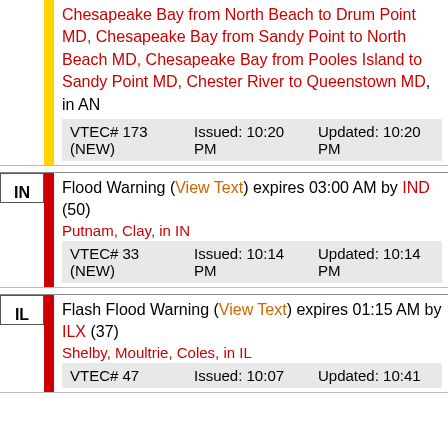Chesapeake Bay from North Beach to Drum Point MD, Chesapeake Bay from Sandy Point to North Beach MD, Chesapeake Bay from Pooles Island to Sandy Point MD, Chester River to Queenstown MD, in AN
| VTEC | Issued | Updated |
| --- | --- | --- |
| VTEC# 173 (NEW) | Issued: 10:20 PM | Updated: 10:20 PM |
Flood Warning (View Text) expires 03:00 AM by IND (50)
Putnam, Clay, in IN
| VTEC | Issued | Updated |
| --- | --- | --- |
| VTEC# 33 (NEW) | Issued: 10:14 PM | Updated: 10:14 PM |
Flash Flood Warning (View Text) expires 01:15 AM by ILX (37)
Shelby, Moultrie, Coles, in IL
| VTEC | Issued | Updated |
| --- | --- | --- |
| VTEC# 47 | Issued: 10:07 | Updated: 10:41 |